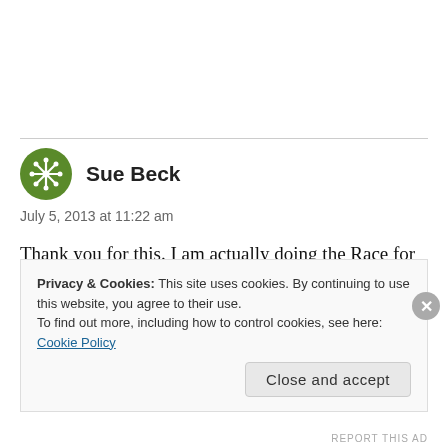[Figure (illustration): Green circular avatar with snowflake/star-like decorative icon for user Sue Beck]
Sue Beck
July 5, 2013 at 11:22 am
Thank you for this. I am actually doing the Race for Life thing soon and have to say that I am running it for me – to prove I am alive. I have people running in it and others like it for me, in my name and I DO NOT
Privacy & Cookies: This site uses cookies. By continuing to use this website, you agree to their use.
To find out more, including how to control cookies, see here: Cookie Policy
Close and accept